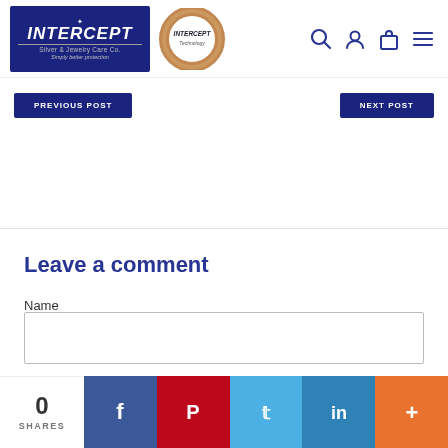[Figure (logo): Intercept Silver & Jewelry Care Co. logo — white text on dark blue background, star icon, italic INTERCEPT text, tagline 'Simply better protection']
[Figure (logo): Intercept Technology logo — circular metallic graphic with INTERCEPT text]
[Figure (other): Navigation icons: search magnifying glass, user/account person icon, shopping bag/cart icon, hamburger menu icon — all in dark navy blue]
[Figure (other): Two dark blue navigation buttons partially visible: 'PREVIOUS POST' on left, 'NEXT POST' on right]
Leave a comment
Name
[Figure (other): Empty text input field for Name]
[Figure (infographic): Social share bar at bottom: '0 SHARES' count on white, followed by Facebook (dark blue), Pinterest (red), Twitter (light blue), LinkedIn (medium blue), More/Plus (orange) share buttons]